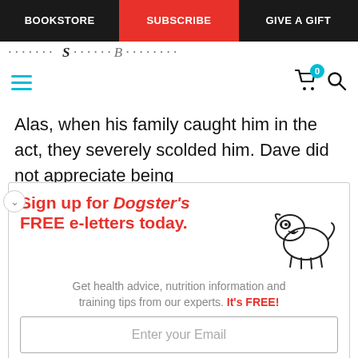BOOKSTORE | SUBSCRIBE | GIVE A GIFT
Alas, when his family caught him in the act, they severely scolded him. Dave did not appreciate being
[Figure (infographic): Dogster newsletter sign-up ad with cartoon dog illustration. Sign up for Dogster's FREE e-letters today. Get health advice, nutrition information and training tips from our experts. It's FREE! Email input field and YES! SIGN ME UP button.]